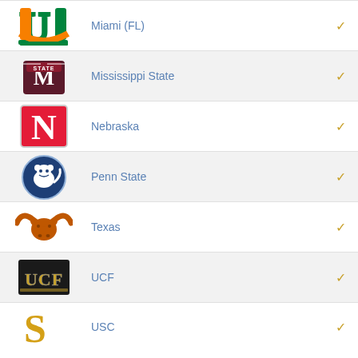Miami (FL)
Mississippi State
Nebraska
Penn State
Texas
UCF
USC